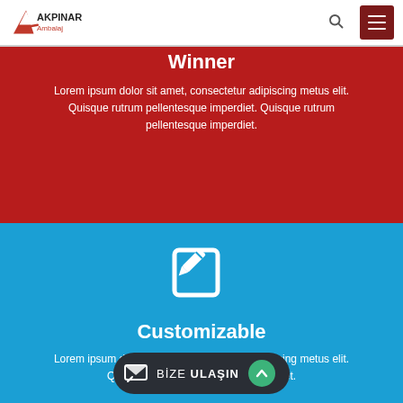Akpinar Ambalaj
Winner
Lorem ipsum dolor sit amet, consectetur adipiscing metus elit. Quisque rutrum pellentesque imperdiet. Quisque rutrum pellentesque imperdiet.
[Figure (illustration): Edit/write icon: a square with a pencil overlay, white on blue background]
Customizable
Lorem ipsum dolor sit amet, consectetur adipiscing metus elit. Quisque rutrum pellentesque imperdiet.
BİZE ULAŞIN